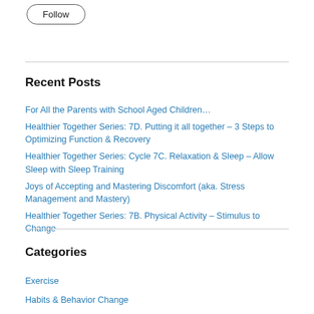[Figure (other): Follow button with rounded border]
Recent Posts
For All the Parents with School Aged Children…
Healthier Together Series: 7D. Putting it all together – 3 Steps to Optimizing Function & Recovery
Healthier Together Series: Cycle 7C. Relaxation & Sleep – Allow Sleep with Sleep Training
Joys of Accepting and Mastering Discomfort (aka. Stress Management and Mastery)
Healthier Together Series: 7B. Physical Activity – Stimulus to Change
Categories
Exercise
Habits & Behavior Change